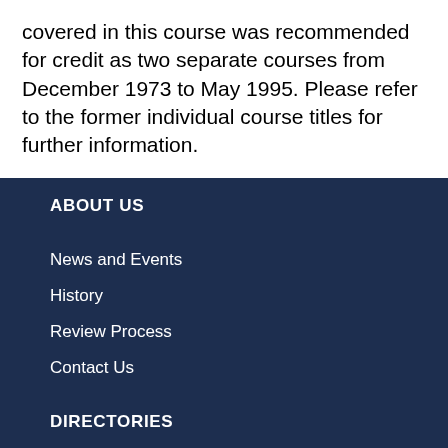covered in this course was recommended for credit as two separate courses from December 1973 to May 1995. Please refer to the former individual course titles for further information.
ABOUT US
News and Events
History
Review Process
Contact Us
DIRECTORIES
CCRS Online Directory
Current Members